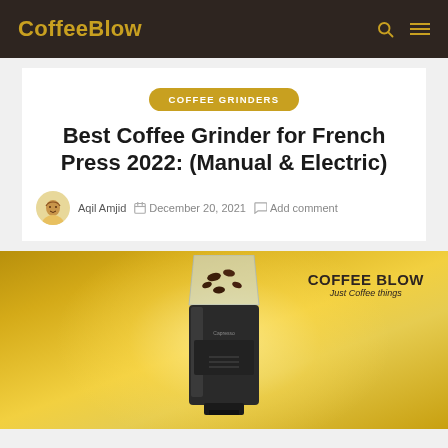CoffeeBlow
COFFEE GRINDERS
Best Coffee Grinder for French Press 2022: (Manual & Electric)
Aqil Amjid  December 20, 2021  Add comment
[Figure (photo): Golden-background branded hero image showing a black electric coffee grinder with coffee beans in the hopper, and the 'COFFEE BLOW – Just Coffee things' logo in the upper right corner]